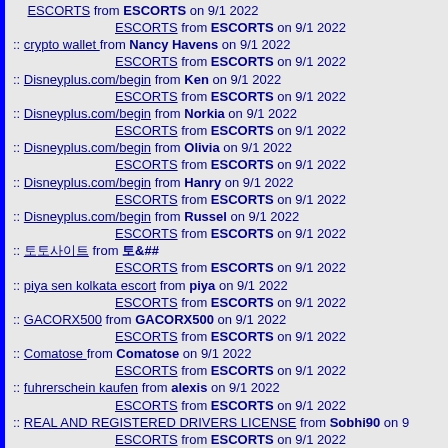ESCORTS from ESCORTS on 9/1 2022
   ESCORTS from ESCORTS on 9/1 2022
crypto wallet from Nancy Havens on 9/1 2022
   ESCORTS from ESCORTS on 9/1 2022
Disneyplus.com/begin from Ken on 9/1 2022
   ESCORTS from ESCORTS on 9/1 2022
Disneyplus.com/begin from Norkia on 9/1 2022
   ESCORTS from ESCORTS on 9/1 2022
Disneyplus.com/begin from Olivia on 9/1 2022
   ESCORTS from ESCORTS on 9/1 2022
Disneyplus.com/begin from Hanry on 9/1 2022
   ESCORTS from ESCORTS on 9/1 2022
Disneyplus.com/begin from Russel on 9/1 2022
   ESCORTS from ESCORTS on 9/1 2022
&#53664;&#53664;&#49324;&#51060;&#53944; from &#53664;&## from ...
   ESCORTS from ESCORTS on 9/1 2022
piya sen kolkata escort from piya on 9/1 2022
   ESCORTS from ESCORTS on 9/1 2022
GACORX500 from GACORX500 on 9/1 2022
   ESCORTS from ESCORTS on 9/1 2022
Comatose from Comatose on 9/1 2022
   ESCORTS from ESCORTS on 9/1 2022
fuhrerschein kaufen from alexis on 9/1 2022
   ESCORTS from ESCORTS on 9/1 2022
REAL AND REGISTERED DRIVERS LICENSE from Sobhi90 on 9/...
   ESCORTS from ESCORTS on 9/1 2022
Dubai Glass Works from Dubai Glass Works on 9/1 2022
   ESCORTS from ESCORTS on 9/1 2022
Grape God from Grape God on 9/1 2022
   ESCORTS from ESCORTS on 9/1 2022
jadcherla-escort from jadcherla-escort on 9/1 2022
   ESCORTS from ESCORTS on 9/1 2022